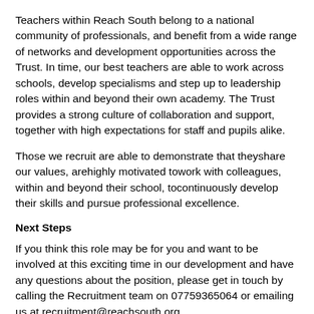Teachers within Reach South belong to a national community of professionals, and benefit from a wide range of networks and development opportunities across the Trust. In time, our best teachers are able to work across schools, develop specialisms and step up to leadership roles within and beyond their own academy. The Trust provides a strong culture of collaboration and support, together with high expectations for staff and pupils alike.
Those we recruit are able to demonstrate that theyshare our values, arehighly motivated towork with colleagues, within and beyond their school, tocontinuously develop their skills and pursue professional excellence.
Next Steps
If you think this role may be for you and want to be involved at this exciting time in our development and have any questions about the position, please get in touch by calling the Recruitment team on 07759365064 or emailing us at recruitment@reachsouth.org.
Closing date: for applications is 11th September 2022